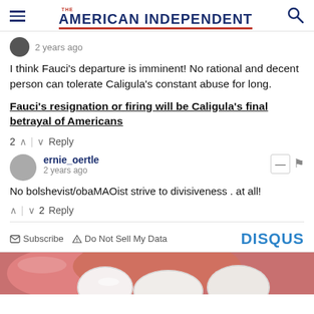THE AMERICAN INDEPENDENT
2 years ago
I think Fauci's departure is imminent! No rational and decent person can tolerate Caligula's constant abuse for long.
Fauci's resignation or firing will be Caligula's final betrayal of Americans
2 ∧ | ∨ Reply
ernie_oertle
2 years ago
No bolshevist/obaMAOist strive to divisiveness . at all!
∧ | ∨ 2 Reply
Subscribe  Do Not Sell My Data  DISQUS
[Figure (photo): Close-up photo of teeth and gums, partially visible at the bottom of the page]